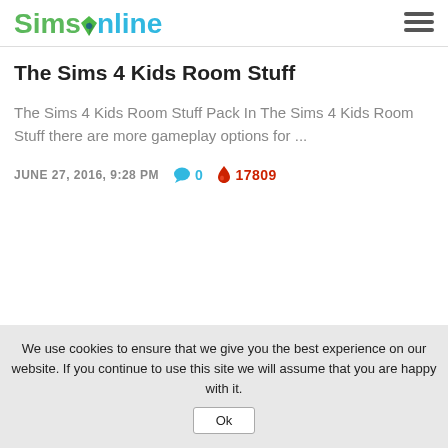SimsOnline (logo with hamburger menu)
The Sims 4 Kids Room Stuff
The Sims 4 Kids Room Stuff Pack In The Sims 4 Kids Room Stuff there are more gameplay options for ...
JUNE 27, 2016, 9:28 PM   💬 0   🔥 17809
We use cookies to ensure that we give you the best experience on our website. If you continue to use this site we will assume that you are happy with it. Ok